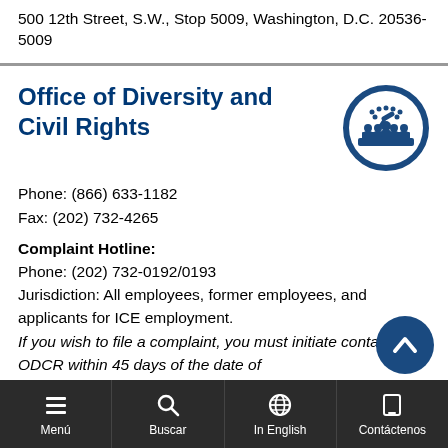500 12th Street, S.W., Stop 5009, Washington, D.C. 20536-5009
Office of Diversity and Civil Rights
[Figure (logo): Circular blue icon showing a podium with a gavel and seated figures, representing civil rights/legal proceedings]
Phone: (866) 633-1182
Fax: (202) 732-4265
Complaint Hotline:
Phone: (202) 732-0192/0193
Jurisdiction: All employees, former employees, and applicants for ICE employment.
If you wish to file a complaint, you must initiate contact with ODCR within 45 days of the date of
Menú | Buscar | In English | Contáctenos